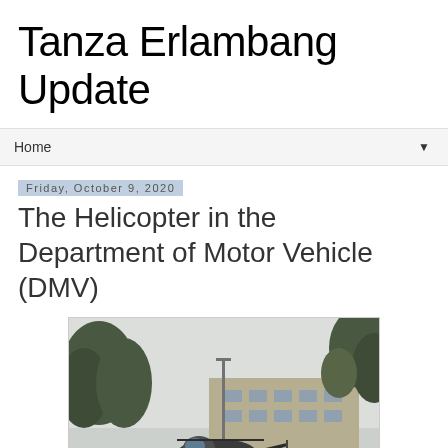Tanza Erlambang Update
Home
Friday, October 9, 2020
The Helicopter in the Department of Motor Vehicle (DMV)
[Figure (photo): Outdoor photograph of a helicopter on the ground near a building (DMV), surrounded by trees, taken on an overcast day.]